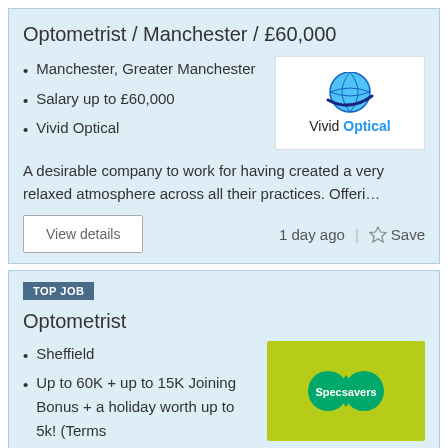Optometrist / Manchester / £60,000
Manchester, Greater Manchester
Salary up to £60,000
Vivid Optical
[Figure (logo): Vivid Optical company logo with globe graphic]
A desirable company to work for having created a very relaxed atmosphere across all their practices. Offeri…
View details   1 day ago  |  ☆ Save
TOP JOB
Optometrist
Sheffield
Up to 60K + up to 15K Joining Bonus + a holiday worth up to 5k! (Terms
[Figure (logo): Specsavers company logo on green background]